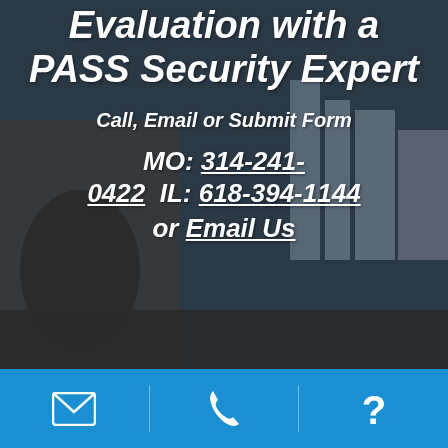[Figure (photo): Dark background photo of a city bridge/infrastructure with urban skyline behind, overlaid with semi-transparent dark tint]
Evaluation with a PASS Security Expert
Call, Email or Submit Form
MO: 314-241-0422  IL: 618-394-1144 or Email Us